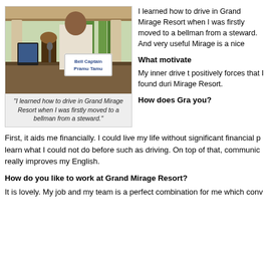[Figure (photo): Bell Captain Pramu Tamu standing at a hotel front desk holding a sign reading 'Bell Captain Pramu Tamu', with tropical garden and columns in background]
"I learned how to drive in Grand Mirage Resort when I was firstly moved to a bellman from a steward."
I learned how to drive in Grand Mirage Resort when I was firstly moved to a bellman from a steward. And very useful Mirage is a nice
What motivate
My inner drive t positively forces that I found duri Mirage Resort.
How does Gra you?
First, it aids me financially. I could live my life without significant financial p learn what I could not do before such as driving. On top of that, communic really improves my English.
How do you like to work at Grand Mirage Resort?
It is lovely. My job and my team is a perfect combination for me which conv